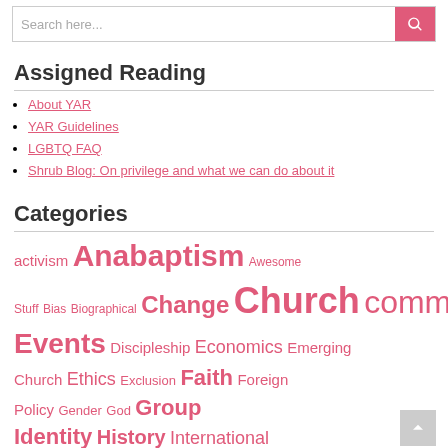Assigned Reading
About YAR
YAR Guidelines
LGBTQ FAQ
Shrub Blog: On privilege and what we can do about it
Categories
activism Anabaptism Awesome Stuff Bias Biographical Change Church community Consumerism culture Current Events Discipleship Economics Emerging Church Ethics Exclusion Faith Foreign Policy Gender God Group Identity History International Relations LGBTQ Love Media Mennonite Church USA Meta (YAR) Nonviolence Peace & Peacemaking Politics Power